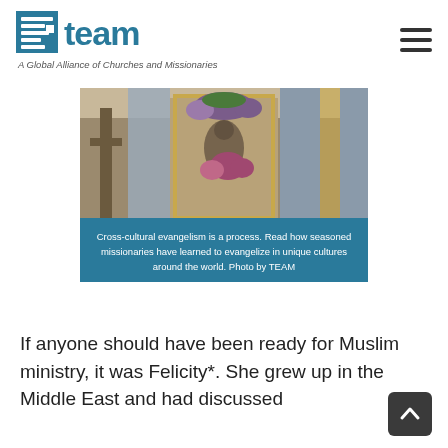[Figure (logo): TEAM logo with icon, text 'team', and tagline 'A Global Alliance of Churches and Missionaries']
[Figure (photo): Interior of a decorated church or religious space with colorful flowers, ornate altar, and draped fabric. Caption overlay reads: 'Cross-cultural evangelism is a process. Read how seasoned missionaries have learned to evangelize in unique cultures around the world. Photo by TEAM']
Cross-cultural evangelism is a process. Read how seasoned missionaries have learned to evangelize in unique cultures around the world. Photo by TEAM
If anyone should have been ready for Muslim ministry, it was Felicity*. She grew up in the Middle East and had discussed